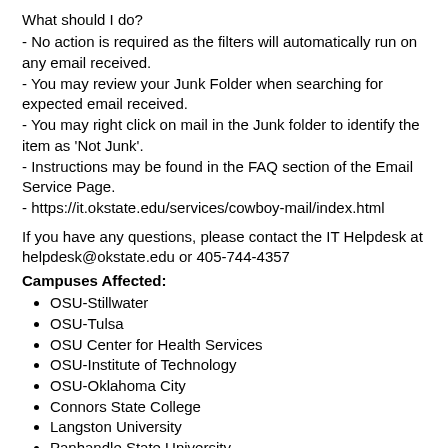What should I do?
- No action is required as the filters will automatically run on any email received.
- You may review your Junk Folder when searching for expected email received.
- You may right click on mail in the Junk folder to identify the item as 'Not Junk'.
- Instructions may be found in the FAQ section of the Email Service Page.
- https://it.okstate.edu/services/cowboy-mail/index.html
If you have any questions, please contact the IT Helpdesk at helpdesk@okstate.edu or 405-744-4357
Campuses Affected:
OSU-Stillwater
OSU-Tulsa
OSU Center for Health Services
OSU-Institute of Technology
OSU-Oklahoma City
Connors State College
Langston University
Panhandle State University
Northeastern Oklahoma A & M